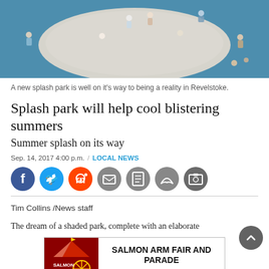[Figure (photo): Aerial view of children playing in a splash pad / water park area with a circular light-colored surface surrounded by blue/teal ground]
A new splash park is well on it's way to being a reality in Revelstoke.
Splash park will help cool blistering summers
Summer splash on its way
Sep. 14, 2017 4:00 p.m.  /  LOCAL NEWS
[Figure (infographic): Social media sharing icons: Facebook (blue), Twitter (light blue), Reddit (orange), Email (grey), Print (grey), Comment (grey), Gallery (dark grey)]
Tim Collins /News staff
The dream of a shaded park, complete with an elaborate
[Figure (infographic): Advertisement banner for Salmon Arm Fair and Parade, September 9 - 11, 2022]